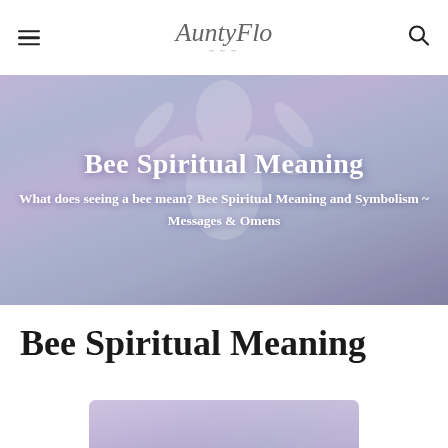AuntyFlo
[Figure (photo): Hero image with angelic figure in soft purple/lavender tones overlaid with text about Bee Spiritual Meaning]
Bee Spiritual Meaning
What does seeing a bee mean? Bee Spiritual Meaning and Symbolism ~ Messages & Omens
Bee Spiritual Meaning
[Figure (photo): Partial view of a soft purple/lavender spiritual illustration at the bottom of the page]